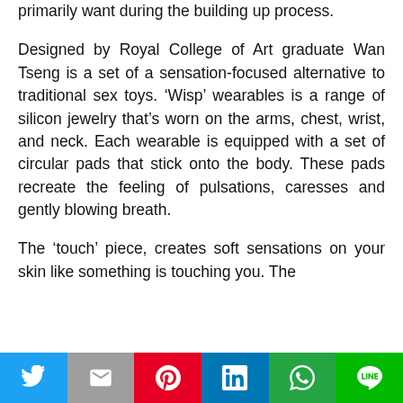primarily want during the building up process.
Designed by Royal College of Art graduate Wan Tseng is a set of a sensation-focused alternative to traditional sex toys. ‘Wisp’ wearables is a range of silicon jewelry that’s worn on the arms, chest, wrist, and neck. Each wearable is equipped with a set of circular pads that stick onto the body. These pads recreate the feeling of pulsations, caresses and gently blowing breath.
The ‘touch’ piece, creates soft sensations on your skin like something is touching you. The